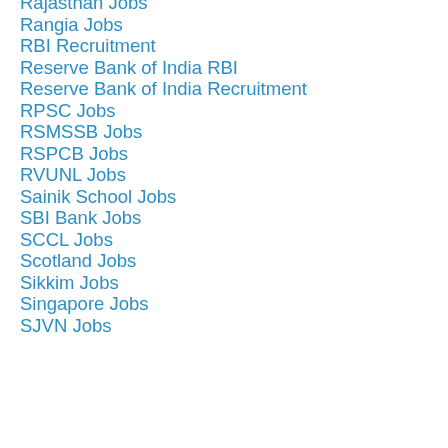Rajasthan Jobs
Rangia Jobs
RBI Recruitment
Reserve Bank of India RBI
Reserve Bank of India Recruitment
RPSC Jobs
RSMSSB Jobs
RSPCB Jobs
RVUNL Jobs
Sainik School Jobs
SBI Bank Jobs
SCCL Jobs
Scotland Jobs
Sikkim Jobs
Singapore Jobs
SJVN Jobs